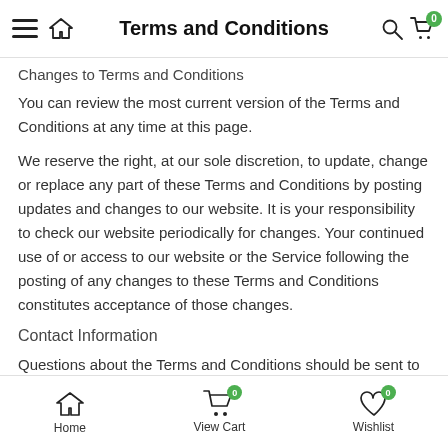Terms and Conditions
Changes to Terms and Conditions
You can review the most current version of the Terms and Conditions at any time at this page.
We reserve the right, at our sole discretion, to update, change or replace any part of these Terms and Conditions by posting updates and changes to our website. It is your responsibility to check our website periodically for changes. Your continued use of or access to our website or the Service following the posting of any changes to these Terms and Conditions constitutes acceptance of those changes.
Contact Information
Questions about the Terms and Conditions should be sent to us at
Home  View Cart  Wishlist